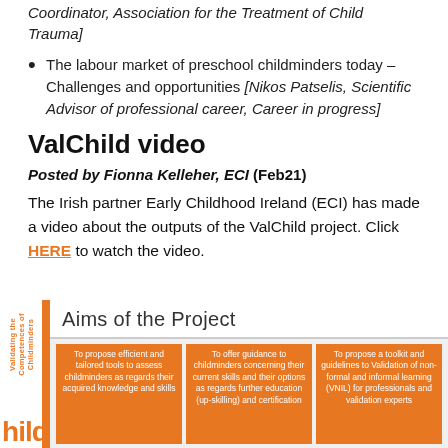Coordinator, Association for the Treatment of Child Trauma]
The labour market of preschool childminders today – Challenges and opportunities [Nikos Patselis, Scientific Advisor of professional career, Career in progress]
ValChild video
Posted by Fionna Kelleher, ECI (Feb21)
The Irish partner Early Childhood Ireland (ECI) has made a video about the outputs of the ValChild project. Click HERE to watch the video.
[Figure (infographic): ValChild project infographic showing aims of the project with orange vertical bar on left, rotated text 'Validating the Competences of Childminders', Child logo, and three orange boxes describing project aims.]